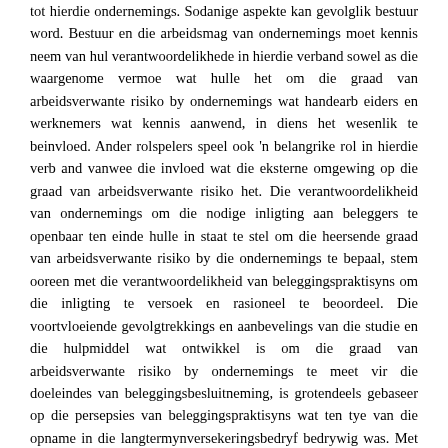tot hierdie ondernemings. Sodanige aspekte kan gevolglik bestuur word. Bestuur en die arbeidsmag van ondernemings moet kennis neem van hul verantwoordelikhede in hierdie verband sowel as die waargenome vermoe wat hulle het om die graad van arbeidsverwante risiko by ondernemings wat handearb eiders en werknemers wat kennis aanwend, in diens het wesenlik te beinvloed. Ander rolspelers speel ook 'n belangrike rol in hierdie verb and vanwee die invloed wat die eksterne omgewing op die graad van arbeidsverwante risiko het. Die verantwoordelikheid van ondernemings om die nodige inligting aan beleggers te openbaar ten einde hulle in staat te stel om die heersende graad van arbeidsverwante risiko by die ondernemings te bepaal, stem ooreen met die verantwoordelikheid van beleggingspraktisyns om die inligting te versoek en rasioneel te beoordeel. Die voortvloeiende gevolgtrekkings en aanbevelings van die studie en die hulpmiddel wat ontwikkel is om die graad van arbeidsverwante risiko by ondernemings te meet vir die doeleindes van beleggingsbesluitneming, is grotendeels gebaseer op die persepsies van beleggingspraktisyns wat ten tye van die opname in die langtermynversekeringsbedryf bedrywig was. Met dit in gedagte, word aanbeveel dat toekomstige navorsingsaktiwiteite gerig word op die verhoging van die waarde van die klassifikasiebome wat in hierdie studie ontwikkel is deur die boom-groei metodiek toe te pas op werklike gevalle waar die veranderlikes gemeet en die finale uitkomste bepaal kan word.